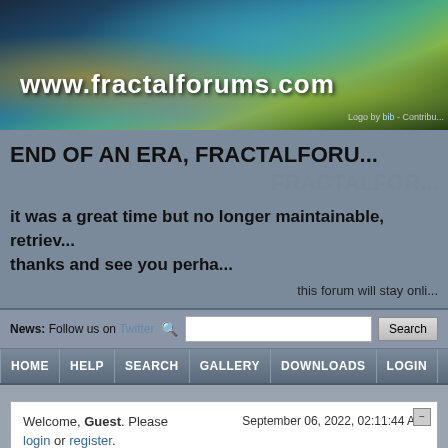[Figure (photo): Fractal art banner image for www.fractalforums.com website, showing colorful blue and gold fractal patterns with the website URL overlaid in white bold text.]
Logo by bib - Contribu...
END OF AN ERA, FRACTALFORU... FRACTALFOR...
it was a great time but no longer maintainable, retriev... thanks and see you perha...
this forum will stay onli...
News: Follow us on Twitter
HOME  HELP  SEARCH  GALLERY  DOWNLOADS  LOGIN  REGISTER
Welcome, Guest. Please login or register.
September 06, 2022, 02:11:44 AM